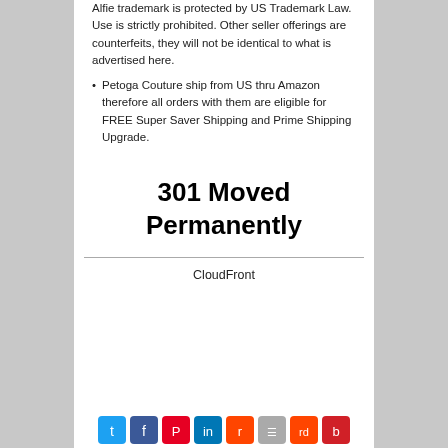Alfie trademark is protected by US Trademark Law. Use is strictly prohibited. Other seller offerings are counterfeits, they will not be identical to what is advertised here.
Petoga Couture ship from US thru Amazon therefore all orders with them are eligible for FREE Super Saver Shipping and Prime Shipping Upgrade.
301 Moved Permanently
CloudFront
[Figure (other): Row of social media share icons: Twitter, Facebook, Pinterest, LinkedIn, and others]